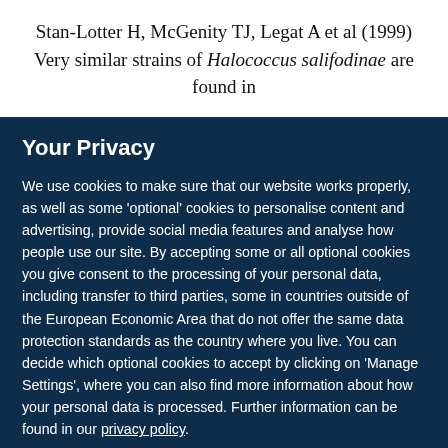Stan-Lotter H, McGenity TJ, Legat A et al (1999) Very similar strains of Halococcus salifodinae are found in
Your Privacy
We use cookies to make sure that our website works properly, as well as some 'optional' cookies to personalise content and advertising, provide social media features and analyse how people use our site. By accepting some or all optional cookies you give consent to the processing of your personal data, including transfer to third parties, some in countries outside of the European Economic Area that do not offer the same data protection standards as the country where you live. You can decide which optional cookies to accept by clicking on 'Manage Settings', where you can also find more information about how your personal data is processed. Further information can be found in our privacy policy.
Accept all cookies
Manage preferences